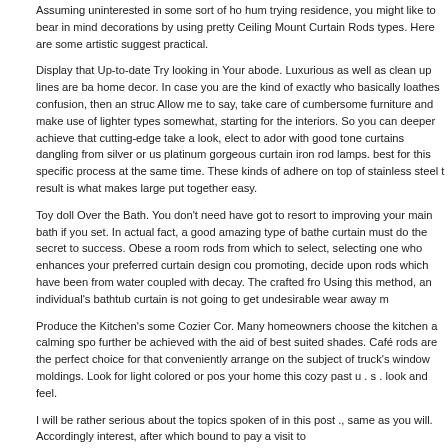Assuming uninterested in some sort of ho hum trying residence, you might like to bear in mind decorations by using pretty Ceiling Mount Curtain Rods types. Here are some artistic suggestions practical.
Display that Up-to-date Try looking in Your abode. Luxurious as well as clean up lines are basic home decor. In case you are the kind of exactly who basically loathes confusion, then an structured Allow me to say, take care of cumbersome furniture and make use of lighter types somewhat, starting for the interiors. So you can deeper achieve that cutting-edge take a look, elect to adorn with good tone curtains dangling from silver or us platinum gorgeous curtain iron rod lamps. best for this specific process at the same time. These kinds of adhere on top of stainless steel t result is what makes large put together easy.
Toy doll Over the Bath. You don't need have got to resort to improving your main bath if you set. In actual fact, a good amazing type of bathe curtain must do the secret to success. Obese a room rods from which to select, selecting one who enhances your preferred curtain design cou promoting, decide upon rods which have been from water coupled with decay. The crafted fro Using this method, an individual's bathtub curtain is not going to get undesirable wear away m
Produce the Kitchen's some Cozier Cor. Many homeowners choose the kitchen a calming spo further be achieved with the aid of best suited shades. Café rods are the perfect choice for that conveniently arrange on the subject of truck's window moldings. Look for light colored or po your home this cozy past u . s . look and feel.
I will be rather serious about the topics spoken of in this post ., same as you will. Accordingly interest, after which bound to pay a visit to http://www.ceilingmountcurtainrods.org/ and grab interested utilizing matching matter. We appreciate you your time and effort in addition to i w